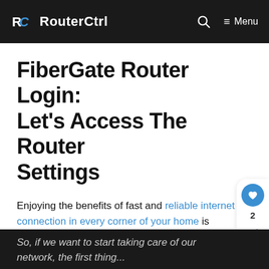RouterCtrl
FiberGate Router Login: Let's Access The Router Settings
Enjoying the benefits of fast and reliable internet connection in every corner of your home is priceless. However, that can be changed in a minute if we don't know how to manage and secure our home network.
So, if we want to start taking care of our network, the first thing...